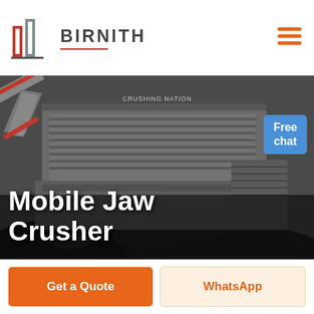BIRNITH
[Figure (photo): Mobile jaw crusher machine photographed at a quarry or mining site. Large industrial crushing equipment with orange and dark grey metalwork, surrounded by piles of crushed rock/coal. Text 'CRUSHING NATION' partially visible on machine. A customer service representative figure appears in top-right corner.]
Mobile Jaw Crusher
Free chat
Get a Quote
WhatsApp